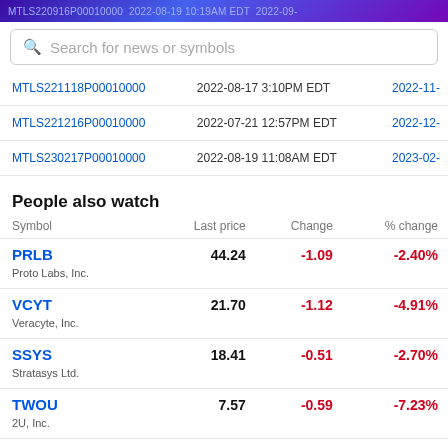yahoo finance / MTLS220916P00010000  2022-08-19 10:19AM EDT  2022-09-
Search for news or symbols
| Symbol | Last traded | Expiration |
| --- | --- | --- |
| MTLS221118P00010000 | 2022-08-17 3:10PM EDT | 2022-11- |
| MTLS221216P00010000 | 2022-07-21 12:57PM EDT | 2022-12- |
| MTLS230217P00010000 | 2022-08-19 11:08AM EDT | 2023-02- |
People also watch
| Symbol | Last price | Change | % change |
| --- | --- | --- | --- |
| PRLB
Proto Labs, Inc. | 44.24 | -1.09 | -2.40% |
| VCYT
Veracyte, Inc. | 21.70 | -1.12 | -4.91% |
| SSYS
Stratasys Ltd. | 18.41 | -0.51 | -2.70% |
| TWOU
2U, Inc. | 7.57 | -0.59 | -7.23% |